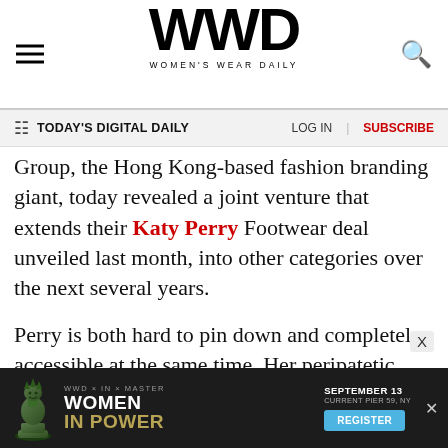WWD WOMEN'S WEAR DAILY
TODAY'S DIGITAL DAILY | LOG IN | SUBSCRIBE
Group, the Hong Kong-based fashion branding giant, today revealed a joint venture that extends their Katy Perry Footwear deal unveiled last month, into other categories over the next several years.
Perry is both hard to pin down and completely accessible at the same time. Her peripatetic schedule and Internet ubiquity would seem to be at odds, but as the Labor Day weekend came to a close, she was ensconced in a cozy Hollywood recording studio, fresh off a visit to her hometown
[Figure (screenshot): WWD Women In Power advertisement banner with chess queen piece, event date September 13, Current Pier 59 NY, Register button]